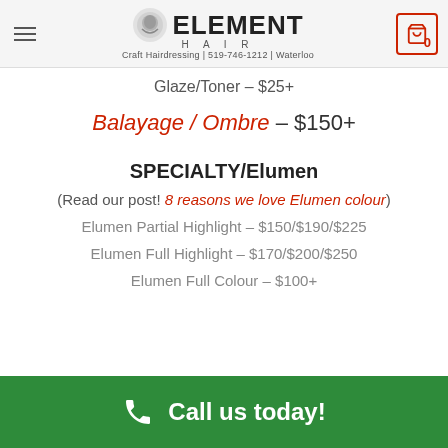ELEMENT HAIR | Craft Hairdressing | 519-746-1212 | Waterloo
Glaze/Toner – $25+
Balayage / Ombre – $150+
SPECIALTY/Elumen
(Read our post! 8 reasons we love Elumen colour)
Elumen Partial Highlight – $150/$190/$225
Elumen Full Highlight – $170/$200/$250
Elumen Full Colour – $100+
Call us today!